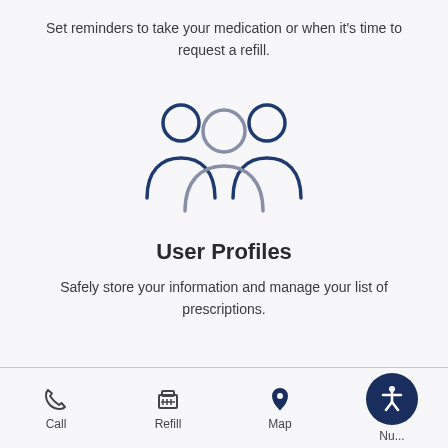Set reminders to take your medication or when it's time to request a refill.
[Figure (illustration): Three user/person silhouette icons grouped together — two in navy blue on the sides, one in gray in the center, representing user profiles.]
User Profiles
Safely store your information and manage your list of prescriptions.
Call | Refill | Map | Nu... (navigation bar with accessibility button)